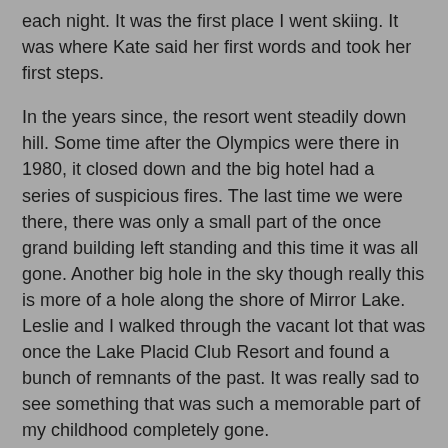each night. It was the first place I went skiing. It was where Kate said her first words and took her first steps.
In the years since, the resort went steadily down hill. Some time after the Olympics were there in 1980, it closed down and the big hotel had a series of suspicious fires. The last time we were there, there was only a small part of the once grand building left standing and this time it was all gone. Another big hole in the sky though really this is more of a hole along the shore of Mirror Lake. Leslie and I walked through the vacant lot that was once the Lake Placid Club Resort and found a bunch of remnants of the past. It was really sad to see something that was such a memorable part of my childhood completely gone.
The good news, though, is that the rest of Lake Placid is doing just fine. The downtown area (which we call "over town" since it is just across Mirror Lake) is in many ways exactly like it was back in the '70s. Some of the same shops are still there and it is just as inviting as it ever was.
Lake Placid hosted the Olympics in 1932 and 1980 - one of